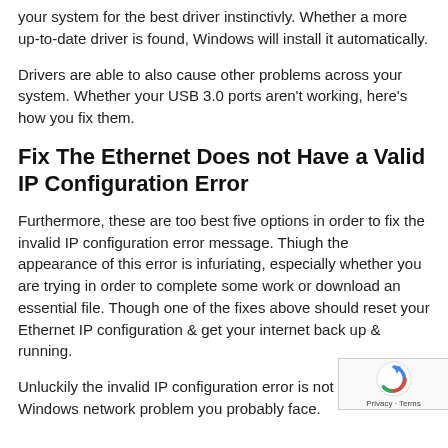your system for the best driver instinctivly. Whether a more up-to-date driver is found, Windows will install it automatically.
Drivers are able to also cause other problems across your system. Whether your USB 3.0 ports aren't working, here's how you fix them.
Fix The Ethernet Does not Have a Valid IP Configuration Error
Furthermore, these are too best five options in order to fix the invalid IP configuration error message. Thiugh the appearance of this error is infuriating, especially whether you are trying in order to complete some work or download an essential file. Though one of the fixes above should reset your Ethernet IP configuration & get your internet back up & running.
Unluckily the invalid IP configuration error is not the only Windows network problem you probably face.